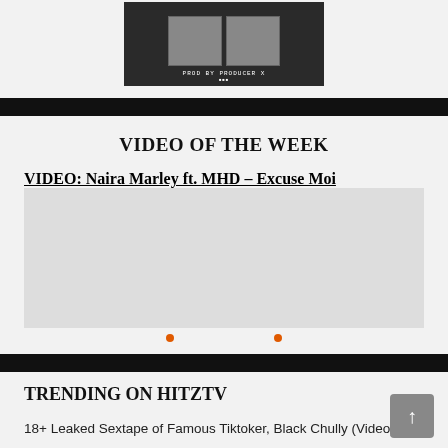[Figure (photo): Grayscale album art showing two people side by side with text 'PROD BY PRODUCER X' at the bottom]
VIDEO OF THE WEEK
VIDEO: Naira Marley ft. MHD – Excuse Moi
[Figure (screenshot): Embedded video player placeholder (grey area)]
TRENDING ON HITZTV
18+ Leaked Sextape of Famous Tiktoker, Black Chully (Video)
What's Muthi Makanana vista? Pink water goes viral after new episode of Uvajola99